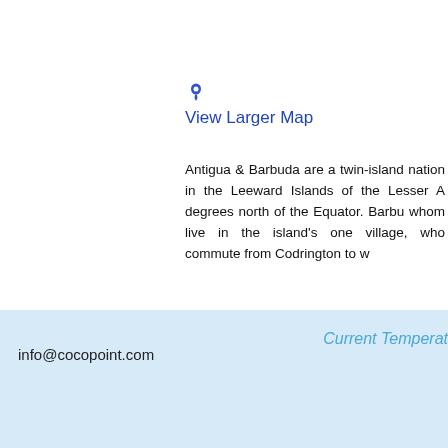[Figure (map): Small blue map pin / location marker icon above 'View Larger Map' link]
View Larger Map
Antigua & Barbuda are a twin-island nation in the Leeward Islands of the Lesser A... degrees north of the Equator. Barbu... whom live in the island's one village, who commute from Codrington to w...
Current Temperat...
info@cocopoint.com